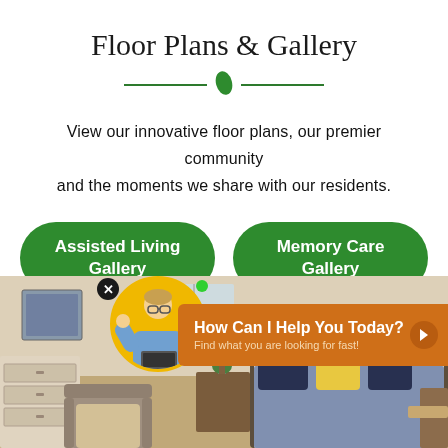Floor Plans & Gallery
View our innovative floor plans, our premier community and the moments we share with our residents.
Assisted Living Gallery
Memory Care Gallery
[Figure (photo): A cozy senior living room with a bed with navy and yellow pillows, a dresser, armchair, desk area, and artwork on the wall]
How Can I Help You Today? Find what you are looking for fast!